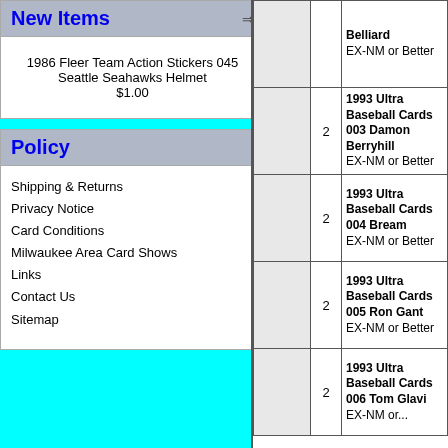New Items
1986 Fleer Team Action Stickers 045 Seattle Seahawks Helmet
$1.00
Policy
Shipping & Returns
Privacy Notice
Card Conditions
Milwaukee Area Card Shows
Links
Contact Us
Sitemap
| Image | Qty | Description |
| --- | --- | --- |
|  |  | Belliard EX-NM or Better |
|  | 2 | 1993 Ultra Baseball Cards 003 Damon Berryhill EX-NM or Better |
|  | 2 | 1993 Ultra Baseball Cards 004 Bream EX-NM or Better |
|  | 2 | 1993 Ultra Baseball Cards 005 Ron Gant EX-NM or Better |
|  | 2 | 1993 Ultra Baseball Cards 006 Tom Glavi EX-NM or... |